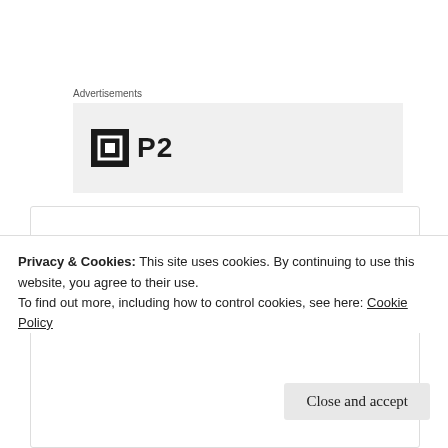Advertisements
[Figure (logo): P2 logo with black square icon and bold P2 text]
[Figure (photo): Circular avatar for Digital Soccer showing a bird silhouette on red background]
Sylvia Avery
09/03/2021 @ 20:33 at 20:33
Privacy & Cookies: This site uses cookies. By continuing to use this website, you agree to their use.
To find out more, including how to control cookies, see here: Cookie Policy
Close and accept